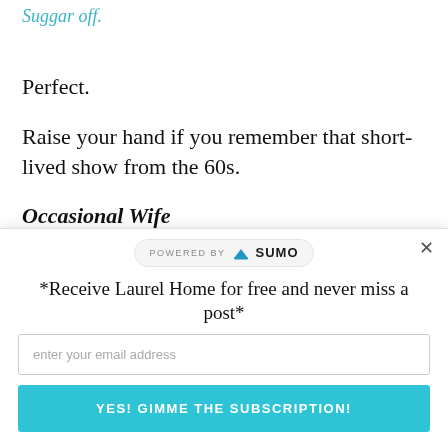Suggar off.
Perfect.
Raise your hand if you remember that short-lived show from the 60s.
Occasional Wife
Okay sorry. It's time to get serious.
*Receive Laurel Home for free and never miss a post*
enter your email address
YES! GIMME THE SUBSCRIPTION!